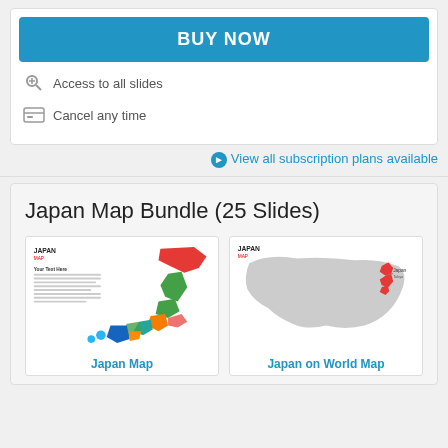BUY NOW
Access to all slides
Cancel any time
View all subscription plans available
Japan Map Bundle (25 Slides)
[Figure (map): Japan map with colored regions (Hokkaido red, Honshu green, other regions orange, blue, pink) with text placeholder area on left side]
Japan Map
[Figure (map): Japan highlighted in red on a grey world/Asia map showing regional context]
Japan on World Map